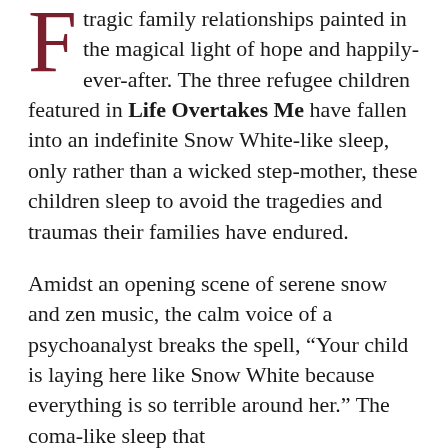tragic family relationships painted in the magical light of hope and happily-ever-after. The three refugee children featured in Life Overtakes Me have fallen into an indefinite Snow White-like sleep, only rather than a wicked step-mother, these children sleep to avoid the tragedies and traumas their families have endured.
Amidst an opening scene of serene snow and zen music, the calm voice of a psychoanalyst breaks the spell, “Your child is laying here like Snow White because everything is so terrible around her.” The coma-like sleep that